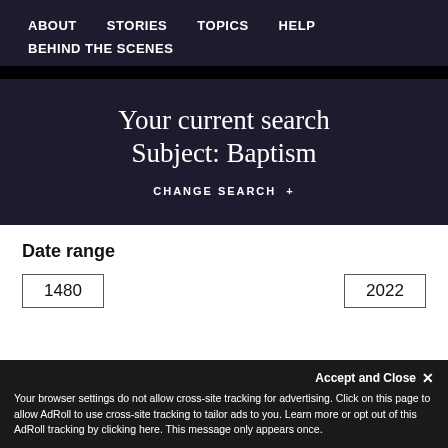ABOUT   STORIES   TOPICS   HELP   BEHIND THE SCENES
Your current search
Subject: Baptism
CHANGE SEARCH +
Date range
1480
2022
Accept and Close ×
Your browser settings do not allow cross-site tracking for advertising. Click on this page to allow AdRoll to use cross-site tracking to tailor ads to you. Learn more or opt out of this AdRoll tracking by clicking here. This message only appears once.